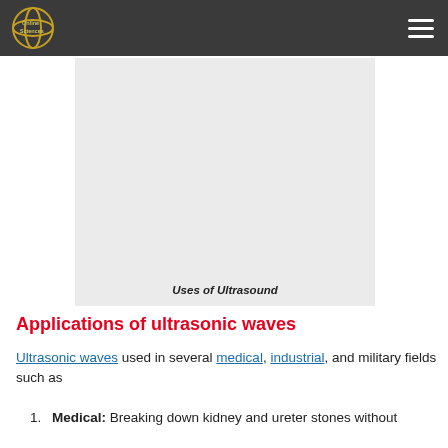Online Sciences
[Figure (illustration): A light gray placeholder image with italic bold caption 'Uses of Ultrasound' at the bottom center.]
Uses of Ultrasound
Applications of ultrasonic waves
Ultrasonic waves used in several medical, industrial, and military fields such as
Medical: Breaking down kidney and ureter stones without surgery (lithotripsy). Discovery of f...